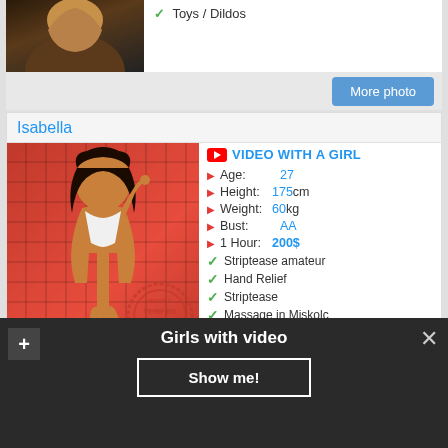[Figure (photo): Partial photo of a woman from a previous listing, cropped at top]
Toys / Dildos
More photo
Isabella
[Figure (photo): Photo of Isabella posing against a red tile wall]
VIDEO WITH A GIRL
Age: 27
Height: 175 cm
Weight: 60 kg
Bust: AA
1 Hour: 200$
Striptease amateur
Hand Relief
Striptease
Massage in Miskolc
Toys / Dildos
Girls with video
Show me!